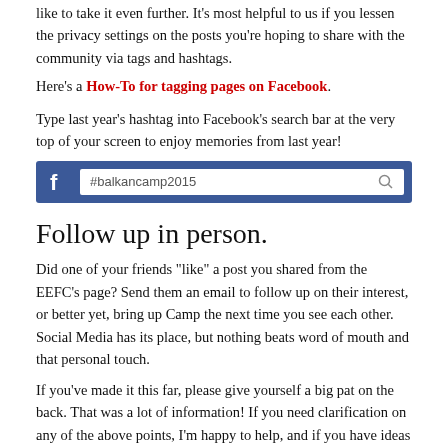like to take it even further. It’s most helpful to us if you lessen the privacy settings on the posts you’re hoping to share with the community via tags and hashtags.
Here’s a How-To for tagging pages on Facebook.
Type last year’s hashtag into Facebook’s search bar at the very top of your screen to enjoy memories from last year!
[Figure (screenshot): Facebook search bar screenshot showing #balkancamp2015 typed into the search field]
Follow up in person.
Did one of your friends “like” a post you shared from the EEFC’s page? Send them an email to follow up on their interest, or better yet, bring up Camp the next time you see each other. Social Media has its place, but nothing beats word of mouth and that personal touch.
If you’ve made it this far, please give yourself a big pat on the back. That was a lot of information! If you need clarification on any of the above points, I’m happy to help, and if you have ideas or want to volunteer, I’ll connect you